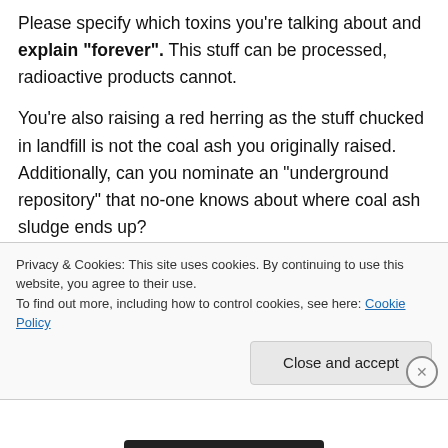Please specify which toxins you're talking about and explain "forever". This stuff can be processed, radioactive products cannot.
You're also raising a red herring as the stuff chucked in landfill is not the coal ash you originally raised. Additionally, can you nominate an "underground repository" that no-one knows about where coal ash sludge ends up?
splitting an atom of uranium liberates 50 million times more heat than combusting an atom of
Privacy & Cookies: This site uses cookies. By continuing to use this website, you agree to their use.
To find out more, including how to control cookies, see here: Cookie Policy